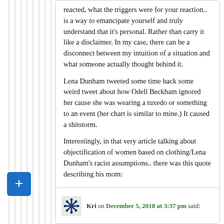reacted, what the triggers were for your reaction.. is a way to emancipate yourself and truly understand that it's personal. Rather than carry it like a disclaimer. In my case, there can be a disconnect between my intuition of a situation and what someone actually thought behind it.
Lena Dunham tweeted some time back some weird tweet about how Odell Beckham ignored her cause she was wearing a tuxedo or something to an event (her chart is similar to mine.) It caused a shitstorm.
Interestingly, in that very article talking about objectification of women based on clothing/Lena Dunham's racist assumptions.. there was this quote describing his mom:
“Standing nearby, looking modelish in a sleek black cocktail dress, his mother, Heather Van Norman, seemed unconcerned that her high-wattage son might wither under the New York media glare.”
Also, words are so powerful, they describe the tweet as a “dust up” or a “fumble” and trivialize it.
Reply ↓
Kri on December 5, 2018 at 3:37 pm said: